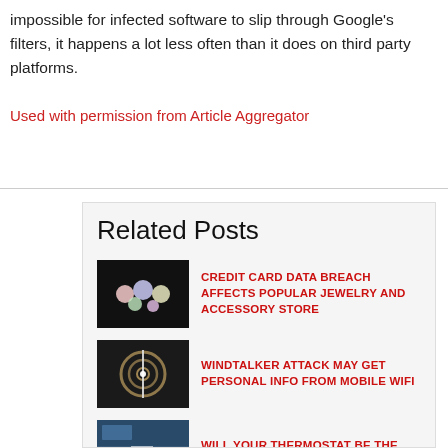impossible for infected software to slip through Google's filters, it happens a lot less often than it does on third party platforms.
Used with permission from Article Aggregator
Related Posts
CREDIT CARD DATA BREACH AFFECTS POPULAR JEWELRY AND ACCESSORY STORE
WINDTALKER ATTACK MAY GET PERSONAL INFO FROM MOBILE WIFI
WILL YOUR THERMOSTAT BE THE NEXT DEVICE HELD FOR RANSOM?
CORONAVIRUS SCARE IS BEING USED